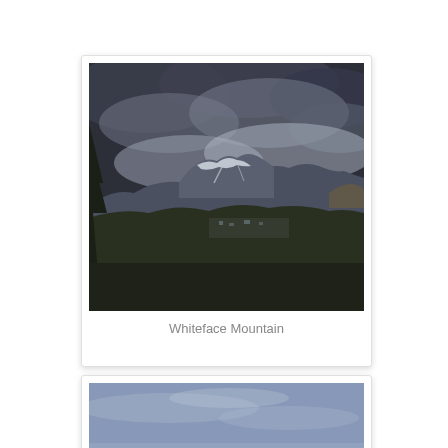[Figure (photo): Photograph of Whiteface Mountain viewed from a distance, showing dark storm clouds overhead, snow-capped mountain peak with ski trails visible, forested ridgelines in the foreground and middle ground, and a valley settlement visible]
Whiteface Mountain
[Figure (photo): Partial photograph showing a blue-toned winter landscape, appearing to be a frozen or partially snow-covered lake or open terrain with hazy blue sky and horizon]